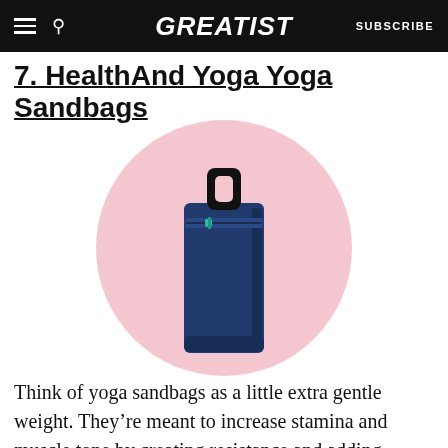GREATIST | SUBSCRIBE
7. HealthAnd Yoga Yoga Sandbags
[Figure (photo): A navy blue rectangular yoga sandbag with a black handle/strap at the top and a small teal zipper pull, displayed against a pink circle background on a white canvas.]
Think of yoga sandbags as a little extra gentle weight. They're meant to increase stamina and muscle tone by creating resistance and adding